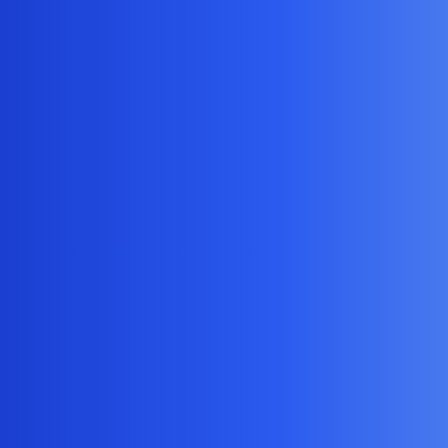[Figure (photo): Blue sidebar occupying left portion of page]
$10.00
$...
[Figure (photo): Product catalog image showing multiple watches in various colors: Two-Tone, White, Gunmetal, Rose Gold, Silver in top row; Copper, Black in bottom row. Item 13101.]
[Figure (photo): Right column product image area (partially visible)]
Item: 13101
$10.00
Item:
$1...
[Figure (photo): Empty white product image area below Item 13101]
[Figure (photo): Empty white product image area in right column]